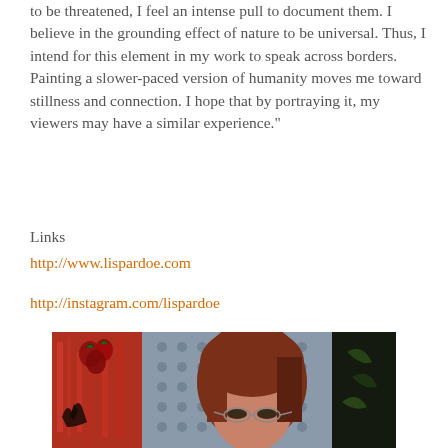to be threatened, I feel an intense pull to document them. I believe in the grounding effect of nature to be universal. Thus, I intend for this element in my work to speak across borders. Painting a slower-paced version of humanity moves me toward stillness and connection. I hope that by portraying it, my viewers may have a similar experience."
Links
http://www.lispardoe.com
http://instagram.com/lispardoe
[Figure (photo): A painting showing a woman with red hair and glasses in the foreground, with a red background on the left featuring dark bird/plant shapes, a blue-grey patterned middle section with circular motifs, and dark right section with green leaf shapes.]